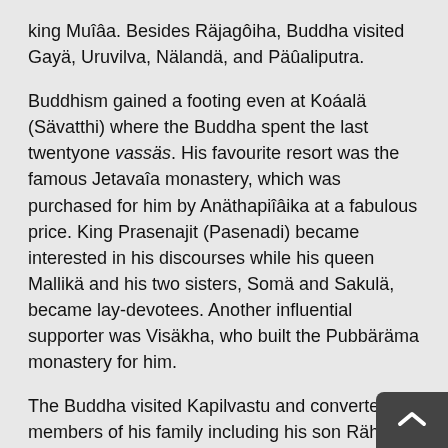king Muîâa. Besides Räjagôiha, Buddha visited Gayä, Uruvilva, Nälandä, and Päûaliputra.
Buddhism gained a footing even at Koáalä (Sävatthi) where the Buddha spent the last twentyone vassäs. His favourite resort was the famous Jetavaîa monastery, which was purchased for him by Anäthapiîâika at a fabulous price. King Prasenajit (Pasenadi) became interested in his discourses while his queen Mallikä and his two sisters, Somä and Sakulä, became lay-devotees. Another influential supporter was Visäkha, who built the Pubbäräma monastery for him.
The Buddha visited Kapilvastu and converted the members of his family including his son Rähula and foster-mother Mahäprajäpati Gomatï. Buddha also spent the fifth Vassä at Vaiáäälï, where Ambapälï, the famous courtesan became his devotee and offered her mango grove to the Saägha. The Buddha passed the ninth Vassä at Kauáämbï where queen Sämavatï of Udayana became his follower. He visited a distant